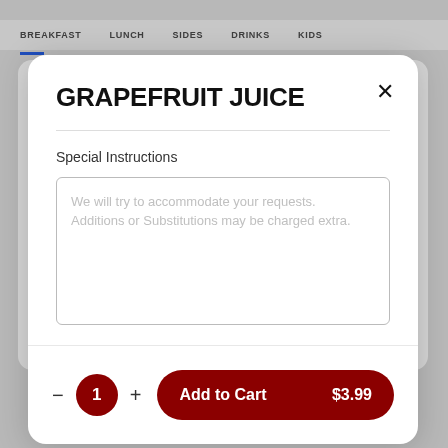BREAKFAST  LUNCH  SIDES  DRINKS  KIDS
GRAPEFRUIT JUICE
Special Instructions
We will try to accommodate your requests. Additions or Substitutions may be charged extra.
– 1 +  Add to Cart  $3.99